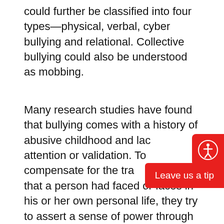could further be classified into four types—physical, verbal, cyber bullying and relational. Collective bullying could also be understood as mobbing.
Many research studies have found that bullying comes with a history of abusive childhood and lack of attention or validation. To compensate for the trauma that a person had faced or faces in his or her own personal life, they try to assert a sense of power through making "the other" feel inferior to them. 'Othering' is a very important way that bullies employ in order to harass people. They create their identity through the process of erasure of the other. That is, the bullied person's identity as a human is compromised and shifted to something that is derogatory and through this process, the bully creates his or her identity of being "strong," "stud" and